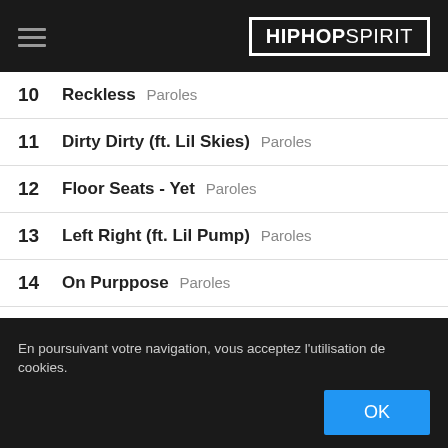HIPHOPSPIRIT
10  Reckless  Paroles
11  Dirty Dirty (ft. Lil Skies)  Paroles
12  Floor Seats - Yet  Paroles
13  Left Right (ft. Lil Pump)  Paroles
14  On Purppose  Paroles
15  Robbin Robbin  Paroles
16  Pop 1 (ft. Moneybagg Yo)  Paroles
17  Audi II  Paroles
En poursuivant votre navigation, vous acceptez l'utilisation de cookies.
OK